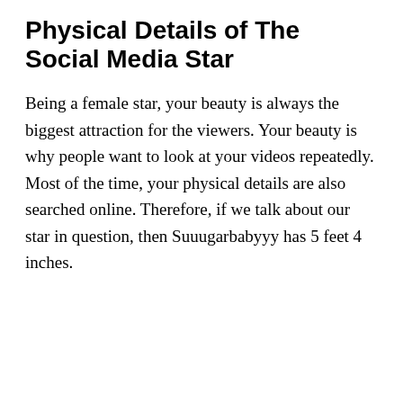Physical Details of The Social Media Star
Being a female star, your beauty is always the biggest attraction for the viewers. Your beauty is why people want to look at your videos repeatedly. Most of the time, your physical details are also searched online. Therefore, if we talk about our star in question, then Suuugarbabyyy has 5 feet 4 inches.